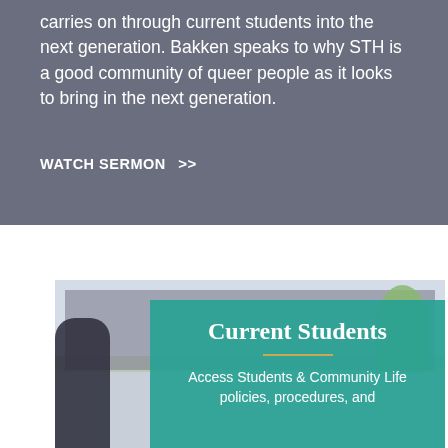carries on through current students into the next generation. Bakken speaks to why STH is a good community of queer people as it looks to bring in the next generation.
WATCH SERMON >>
[Figure (photo): Photo of a university building exterior with trees, a person in foreground, overlaid with a teal box containing 'Current Students' title and subtitle text]
Current Students
Access Students & Community Life policies, procedures, and